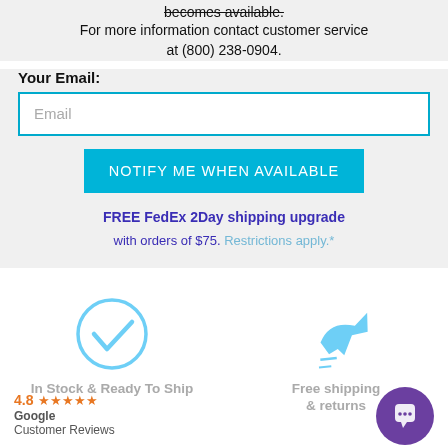becomes available. For more information contact customer service at (800) 238-0904.
Your Email:
Email
NOTIFY ME WHEN AVAILABLE
FREE FedEx 2Day shipping upgrade with orders of $75. Restrictions apply.*
[Figure (illustration): Checkmark in circle icon (light blue) and airplane icon (light blue)]
In Stock & Ready To Ship
Free shipping & returns
4.8 ★★★★★ Google Customer Reviews
[Figure (illustration): Purple chat bubble button icon]